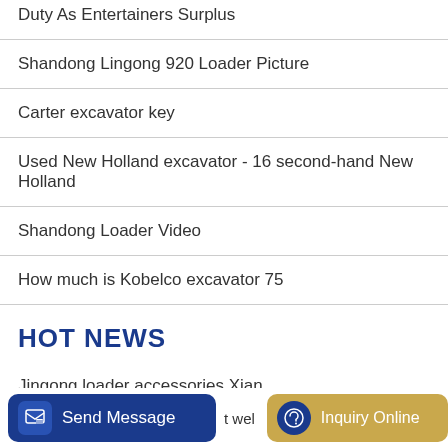Duty As Entertainers Surplus
Shandong Lingong 920 Loader Picture
Carter excavator key
Used New Holland excavator - 16 second-hand New Holland
Shandong Loader Video
How much is Kobelco excavator 75
HOT NEWS
Jingong loader accessories Xian
Send Message   t wel   Inquiry Online